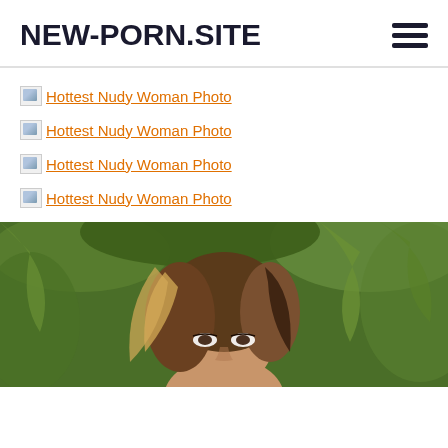NEW-PORN.SITE
Hottest Nudy Woman Photo
Hottest Nudy Woman Photo
Hottest Nudy Woman Photo
Hottest Nudy Woman Photo
[Figure (photo): Partial view of a woman's face and hair with tropical palm leaves in background]